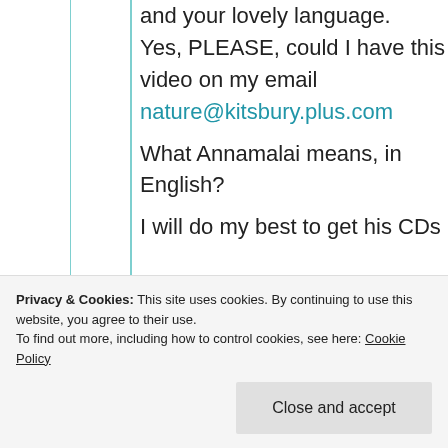and your lovely language. Yes, PLEASE, could I have this video on my email nature@kitsbury.plus.com

What Annamalai means, in English?

I will do my best to get his CDs
Privacy & Cookies: This site uses cookies. By continuing to use this website, you agree to their use. To find out more, including how to control cookies, see here: Cookie Policy
Close and accept